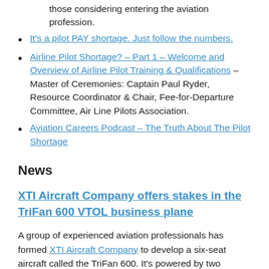those considering entering the aviation profession.
It's a pilot PAY shortage. Just follow the numbers.
Airline Pilot Shortage? – Part 1 – Welcome and Overview of Airline Pilot Training & Qualifications – Master of Ceremonies: Captain Paul Ryder, Resource Coordinator & Chair, Fee-for-Departure Committee, Air Line Pilots Association.
Aviation Careers Podcast – The Truth About The Pilot Shortage
News
XTI Aircraft Company offers stakes in the TriFan 600 VTOL business plane
A group of experienced aviation professionals has formed XTI Aircraft Company to develop a six-seat aircraft called the TriFan 600. It's powered by two turboshaft engines that drive